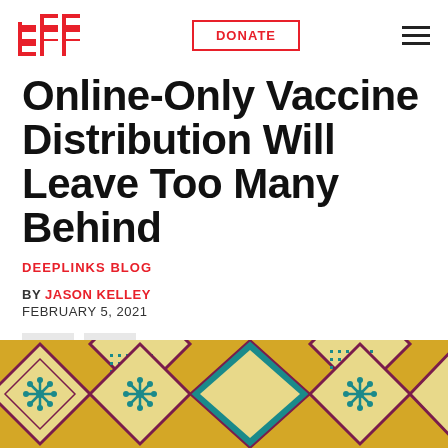EFF | DONATE | Navigation menu
Online-Only Vaccine Distribution Will Leave Too Many Behind
DEEPLINKS BLOG
BY JASON KELLEY
FEBRUARY 5, 2021
[Figure (other): Twitter and Facebook social share icon buttons]
[Figure (illustration): Decorative geometric pattern illustration with hexagonal diamond shapes in yellow, teal, maroon, and cream colors, with snowflake/virus-like motifs in teal]